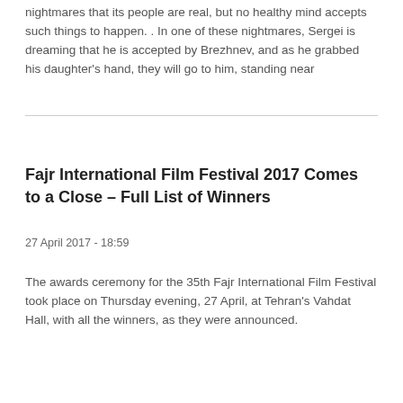nightmares that its people are real, but no healthy mind accepts such things to happen. . In one of these nightmares, Sergei is dreaming that he is accepted by Brezhnev, and as he grabbed his daughter's hand, they will go to him, standing near
Fajr International Film Festival 2017 Comes to a Close – Full List of Winners
27 April 2017 - 18:59
The awards ceremony for the 35th Fajr International Film Festival took place on Thursday evening, 27 April, at Tehran's Vahdat Hall, with all the winners, as they were announced.